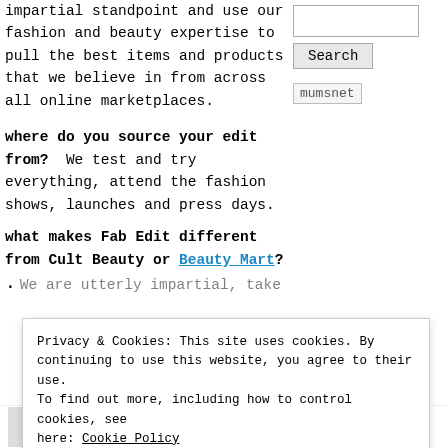impartial standpoint and use our fashion and beauty expertise to pull the best items and products that we believe in from across all online marketplaces.
where do you source your edit from?  We test and try everything, attend the fashion shows, launches and press days.
what makes Fab Edit different from Cult Beauty or Beauty Mart?
We are utterly impartial, take
Privacy & Cookies: This site uses cookies. By continuing to use this website, you agree to their use. To find out more, including how to control cookies, see here: Cookie Policy
Close and accept
beach bag: